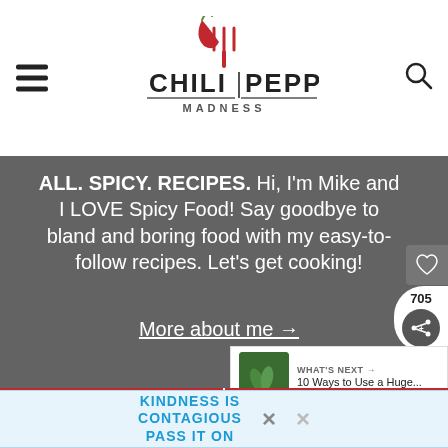Chili Pepper Madness
ALL. SPICY. RECIPES. Hi, I'm Mike and I LOVE Spicy Food! Say goodbye to bland and boring food with my easy-to-follow recipes. Let's get cooking!
More about me →
705
WHAT'S NEXT → 10 Ways to Use a Huge...
Mexican
Cajun
KINDNESS IS CONTAGIOUS PASS IT ON